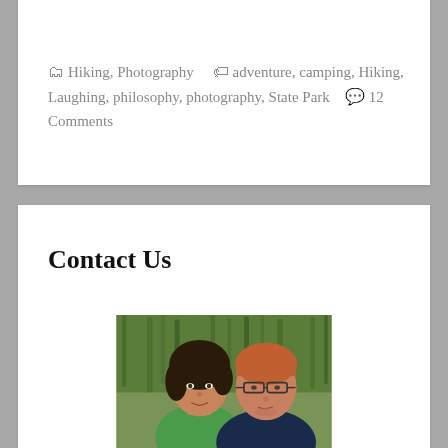Hiking, Photography   adventure, camping, Hiking, Laughing, philosophy, photography, State Park   12 Comments
Contact Us
[Figure (photo): A couple posing outdoors for a selfie. A woman with dark hair wearing a green top leans close to a man with short reddish hair wearing glasses and a navy blue shirt. Green tall grass is visible in the background.]